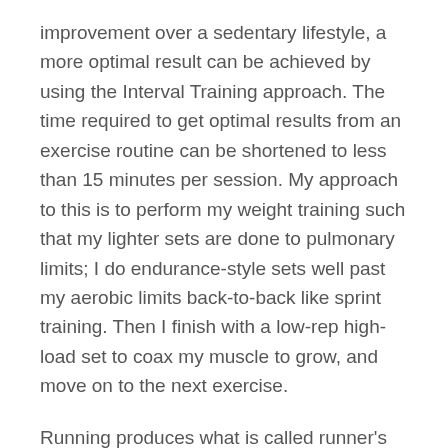improvement over a sedentary lifestyle, a more optimal result can be achieved by using the Interval Training approach. The time required to get optimal results from an exercise routine can be shortened to less than 15 minutes per session. My approach to this is to perform my weight training such that my lighter sets are done to pulmonary limits; I do endurance-style sets well past my aerobic limits back-to-back like sprint training. Then I finish with a low-rep high-load set to coax my muscle to grow, and move on to the next exercise.
Running produces what is called runner's high; a bust of opiate-like endorphins that impart a sense of well-being. I can testify that the same thing happens when I do a strong workout – yes I am hammered, but I feel incredibly strong as a person, and I virtually